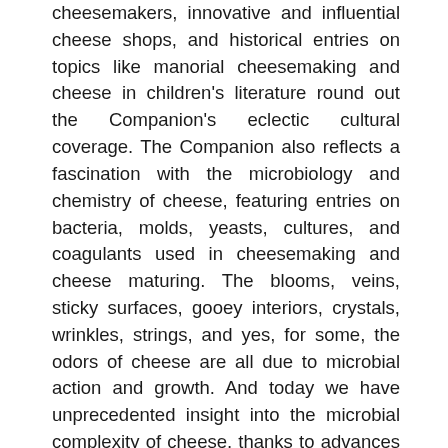cheesemakers, innovative and influential cheese shops, and historical entries on topics like manorial cheesemaking and cheese in children's literature round out the Companion's eclectic cultural coverage. The Companion also reflects a fascination with the microbiology and chemistry of cheese, featuring entries on bacteria, molds, yeasts, cultures, and coagulants used in cheesemaking and cheese maturing. The blooms, veins, sticky surfaces, gooey interiors, crystals, wrinkles, strings, and yes, for some, the odors of cheese are all due to microbial action and growth. And today we have unprecedented insight into the microbial complexity of cheese, thanks to advances in molecular biology, whole-genome sequencing technologies, and microbiome research. The Companion is equally interested in the applied elements of cheesemaking, with entries on